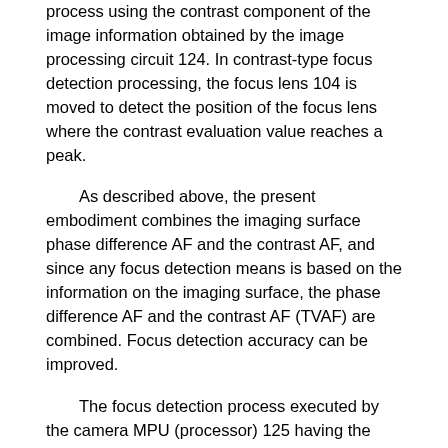process using the contrast component of the image information obtained by the image processing circuit 124. In contrast-type focus detection processing, the focus lens 104 is moved to detect the position of the focus lens where the contrast evaluation value reaches a peak.
As described above, the present embodiment combines the imaging surface phase difference AF and the contrast AF, and since any focus detection means is based on the information on the imaging surface, the phase difference AF and the contrast AF (TVAF) are combined. Focus detection accuracy can be improved.
The focus detection process executed by the camera MPU (processor) 125 having the functions of the first control unit, the second control unit, and the third control unit will be described below with reference to FIGS. In FIG. 1, “S” is an abbreviation for a step. FIG. 1 is a flowchart for explaining a focus detection process executed by the camera MPU 125.
When the camera MPU 125 starts the focus detection process (S100), the camera MPU 125 first searches for the focus detection pixel row of the imaging plane phase